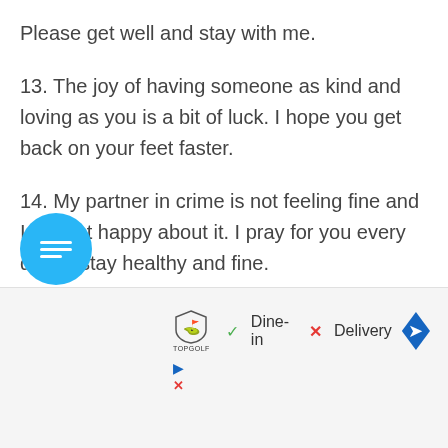Please get well and stay with me.
13. The joy of having someone as kind and loving as you is a bit of luck. I hope you get back on your feet faster.
14. My partner in crime is not feeling fine and I am not happy about it. I pray for you every day to stay healthy and fine.
[Figure (screenshot): Blue circular chat/menu button with list icon, partially visible at bottom left. Below it is an advertisement overlay showing Topgolf logo, green checkmark with 'Dine-in', red X with 'Delivery', and a blue diamond navigation arrow. Additional small play and close icons at bottom left of ad.]